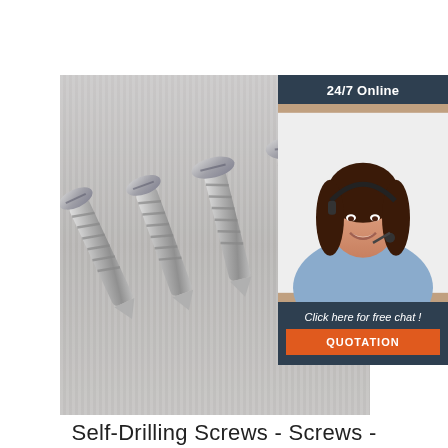[Figure (photo): Photograph of four silver self-drilling screws with flat heads, arranged fanned out on a brushed metal/grey corrugated background. Overlaid in the top-right area is a call-to-action panel with a dark blue-grey background showing '24/7 Online', a photo of a female customer service agent wearing a headset and smiling, the text 'Click here for free chat!' and an orange QUOTATION button.]
Self-Drilling Screws - Screws -